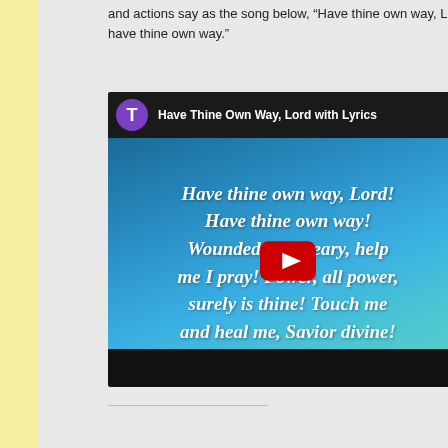and actions say as the song below, “Have thine own way, Lord, have thine own way.”
[Figure (screenshot): YouTube video thumbnail showing 'Have Thine Own Way, Lord with Lyrics' with lyrics text overlay: 'Have thine own way, Lord! Have thine own way! Wounded and weary, help me I pray! Power, all power, surely is thine! Touch me and heal me, Savior divine!' with a YouTube play button in the center.]